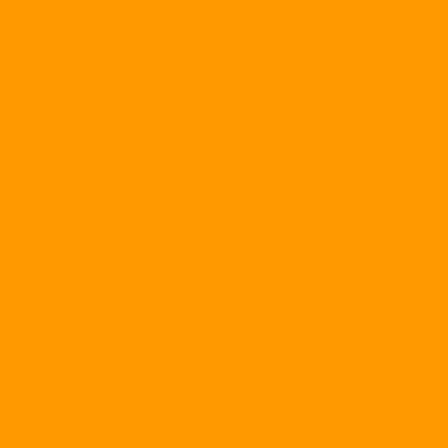Mordantly but aptly, Wissing added, "at le taxpayers' cash."
New Plays, Same Script
The world of 2018 is vastly different from Afghanistan, and Iraq are very different o origins and circumstances. The US milita American force that fought in Vietnam.
So comparisons are hardly simple. Still, t strikingly similar: large-scale US military f far more poorly armed enemy and spend officials dole out hefty amounts of money and a prosperous country, or at least goo citizens will choose the side of the war w
In the end, however, the goal the America able to effectively defend itself, legitimate interests — is not achieved. Eventually, a ourselves, we assume we can help a clie them how to fight essentially the same w lot fewer helicopters to lift out their wound accustomed to while the rich Americans w work so well either.
It's hard to fathom why those scenarios w especially the second or third time aroun into water reaching the boiling point too s Washington's and the Pentagon's thinkin tend to spray over painful memories — th War is a prime example — to avoid reme